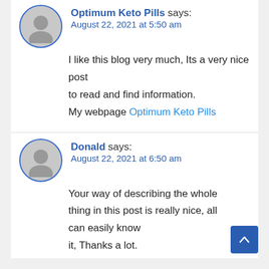Optimum Keto Pills says: August 22, 2021 at 5:50 am — I like this blog very much, Its a very nice post to read and find information. My webpage Optimum Keto Pills
Donald says: August 22, 2021 at 6:50 am — Your way of describing the whole thing in this post is really nice, all can easily know it, Thanks a lot.